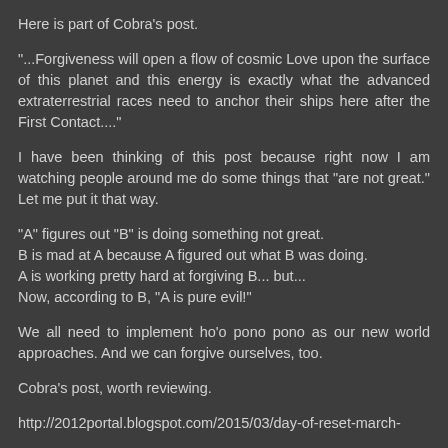Here is part of Cobra's post.
"...Forgiveness will open a flow of cosmic Love upon the surface of this planet and this energy is exactly what the advanced extraterrestrial races need to anchor their ships here after the First Contact...."
I have been thinking of this post because right now I am watching people around me do some things that "are not great." Let me put it that way.
"A" figures out "B" is doing something not great.
B is mad at A because A figured out what B was doing.
A is working pretty hard at forgiving B... but...
Now, according to B, "A is pure evil!"
We all need to implement ho'o pono pono as our new world approaches. And we can forgive ourselves, too.
Cobra's post, worth reviewing.
http://2012portal.blogspot.com/2015/03/day-of-reset-march-